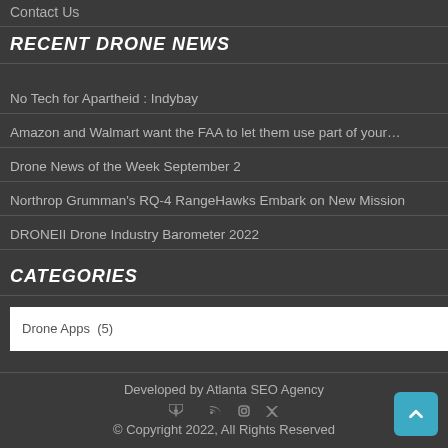Contact Us
RECENT DRONE NEWS
No Tech for Apartheid : Indybay
Amazon and Walmart want the FAA to let them use part of your…
Drone News of the Week September 2
Northrop Grumman's RQ-4 RangeHawks Embark on New Mission
DRONEII Drone Industry Barometer 2022
CATEGORIES
Drone Apps  (5)
Developed by Atlanta SEO Agency
© Copyright 2022, All Rights Reserved